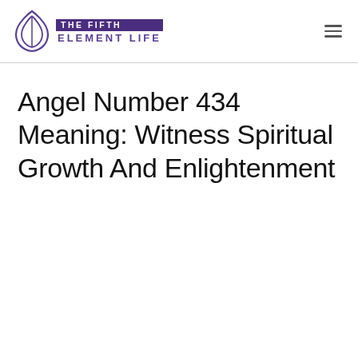THE FIFTH ELEMENT LIFE
Angel Number 434 Meaning: Witness Spiritual Growth And Enlightenment